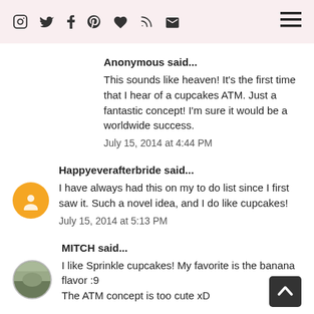Social icons header bar
Anonymous said...
This sounds like heaven! It's the first time that I hear of a cupcakes ATM. Just a fantastic concept! I'm sure it would be a worldwide success.
July 15, 2014 at 4:44 PM
Happyeverafterbride said...
I have always had this on my to do list since I first saw it. Such a novel idea, and I do like cupcakes!
July 15, 2014 at 5:13 PM
MITCH said...
I like Sprinkle cupcakes! My favorite is the banana flavor :9
The ATM concept is too cute xD